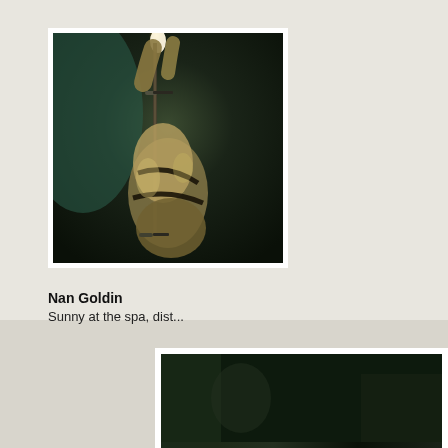[Figure (photo): Dark artistic photograph showing a figure or body form with dramatic lighting against a dark background, appearing to show legs or limbs with some kind of pole or instrument, reminiscent of a spa or acrobatic scene.]
Nan Goldin
Sunny at the spa, dist...
[Figure (photo): Partially visible photograph at the bottom of the page with white border/frame, showing a dark scene, partially cropped.]